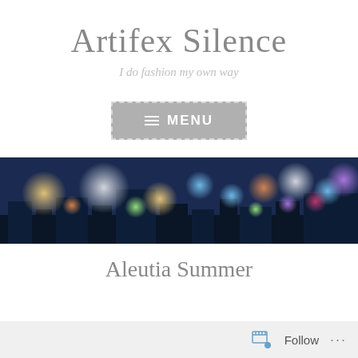Artifex Silence
I do fashion my own way
[Figure (screenshot): A grey button with dashed border containing a hamburger menu icon and the text MENU]
[Figure (photo): A blurred bokeh cityscape photo at night with blue tones and colorful city lights]
Aleutia Summer
Follow ...